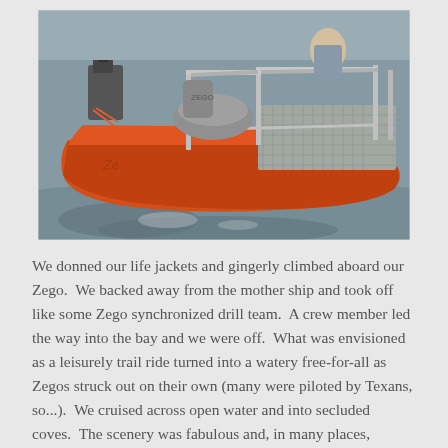[Figure (photo): An orange Zego personal watercraft/boat floating on water, with a gray seat, metal railing frame, and a mesh platform at the rear. A person is partially visible in the background. The boat has 'Zego' branding on its hull.]
We donned our life jackets and gingerly climbed aboard our Zego.  We backed away from the mother ship and took off like some Zego synchronized drill team.  A crew member led the way into the bay and we were off.  What was envisioned as a leisurely trail ride turned into a watery free-for-all as Zegos struck out on their own (many were piloted by Texans, so...).  We cruised across open water and into secluded coves.  The scenery was fabulous and, in many places, reminded us of something...